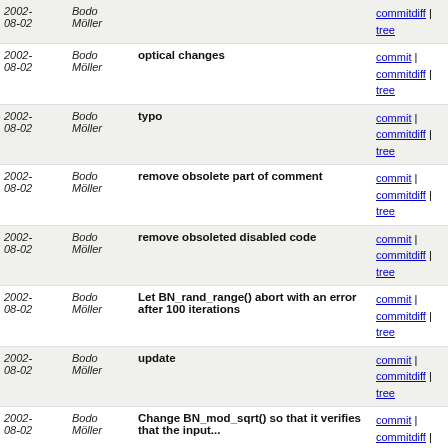| Date | Author | Message | Links |
| --- | --- | --- | --- |
| 2002-08-02 | Bodo Möller |  | commitdiff | tree |
| 2002-08-02 | Bodo Möller | optical changes | commit | commitdiff | tree |
| 2002-08-02 | Bodo Möller | typo | commit | commitdiff | tree |
| 2002-08-02 | Bodo Möller | remove obsolete part of comment | commit | commitdiff | tree |
| 2002-08-02 | Bodo Möller | remove obsoleted disabled code | commit | commitdiff | tree |
| 2002-08-02 | Bodo Möller | Let BN_rand_range() abort with an error after 100 iterations | commit | commitdiff | tree |
| 2002-08-02 | Bodo Möller | update | commit | commitdiff | tree |
| 2002-08-02 | Bodo Möller | Change BN_mod_sqrt() so that it verifies that the input... | commit | commitdiff | tree |
| 2002-08-02 | Bodo Möller | move GF2m tests to the end | commit | commitdiff | tree |
| 2002-08-02 | Bodo Möller | Rename implementations of method functions so that... | commit | commitdiff | tree |
| 2002-08-02 | Bodo Möller | typos | commit | commitdiff | tree |
| 2002-08-02 | Bodo Möller | ec2_smpt.c must be listed in LIBSRC | commit | commitdiff | tree |
| 2002-08-02 | Bodo Möller | there is no alternative EC_METHOD for curves over GF... | commit | commitdiff | tree |
| 2002-08-02 | Bodo Möller | add support for elliptic curves over binary fields... | commit | commitdiff | tree |